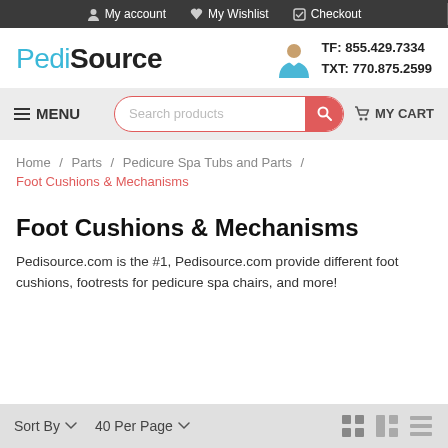My account  My Wishlist  Checkout
[Figure (logo): PediSource logo with cyan 'Pedi' and black bold 'Source']
TF: 855.429.7334
TXT: 770.875.2599
≡ MENU  Search products  🛒 MY CART
Home / Parts / Pedicure Spa Tubs and Parts / Foot Cushions & Mechanisms
Foot Cushions & Mechanisms
Pedisource.com is the #1, Pedisource.com provide different foot cushions, footrests for pedicure spa chairs, and more!
Sort By ▼   40 Per Page ▼